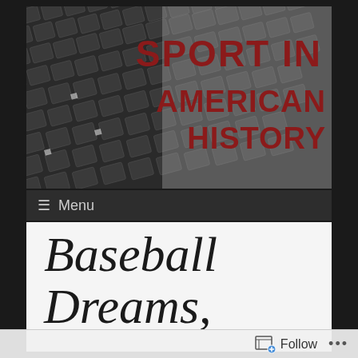[Figure (photo): Black and white photo of empty stadium seats arranged in diagonal rows, with bold dark red text overlay reading 'SPORT IN AMERICAN HISTORY']
≡ Menu
Baseball Dreams,
Follow •••